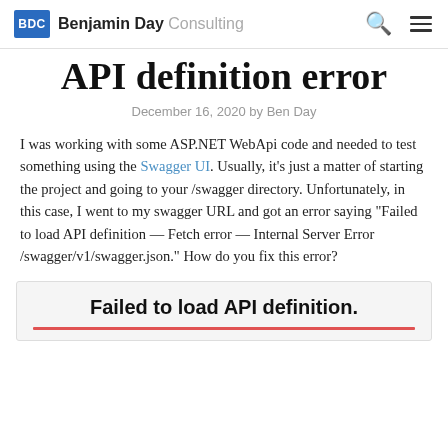Benjamin Day Consulting
API definition error
December 16, 2020 by Ben Day
I was working with some ASP.NET WebApi code and needed to test something using the Swagger UI. Usually, it's just a matter of starting the project and going to your /swagger directory. Unfortunately, in this case, I went to my swagger URL and got an error saying "Failed to load API definition — Fetch error — Internal Server Error /swagger/v1/swagger.json." How do you fix this error?
[Figure (screenshot): Screenshot showing 'Failed to load API definition.' error message in bold, with a red underline below.]